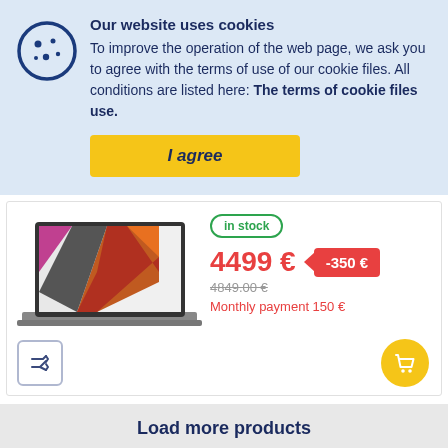Our website uses cookies
To improve the operation of the web page, we ask you to agree with the terms of use of our cookie files. All conditions are listed here: The terms of cookie files use.
I agree
[Figure (photo): MacBook Pro laptop with colorful abstract wallpaper, displayed open showing a vibrant geometric design.]
in stock
4499 €
-350 €
4849.00 €
Monthly payment 150 €
Load more products